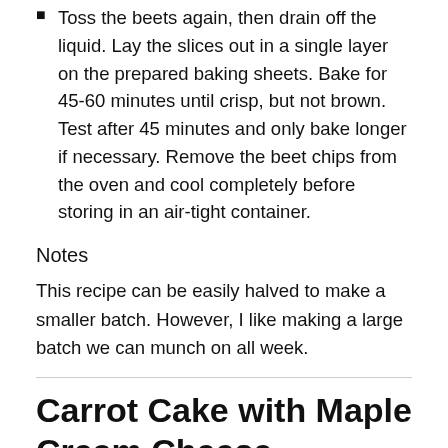Toss the beets again, then drain off the liquid. Lay the slices out in a single layer on the prepared baking sheets. Bake for 45-60 minutes until crisp, but not brown. Test after 45 minutes and only bake longer if necessary. Remove the beet chips from the oven and cool completely before storing in an air-tight container.
Notes
This recipe can be easily halved to make a smaller batch. However, I like making a large batch we can munch on all week.
Carrot Cake with Maple Cream Cheese
Frosting